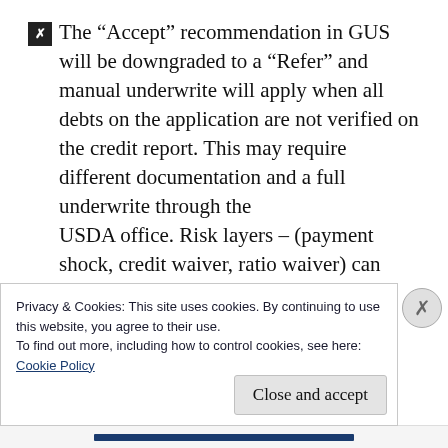The “Accept” recommendation in GUS will be downgraded to a “Refer” and manual underwrite will apply when all debts on the application are not verified on the credit report. This may require different documentation and a full underwrite through the USDA office. Risk layers – (payment shock, credit waiver, ratio waiver) can only allow 1 risk layer and the file must have strong,
Privacy & Cookies: This site uses cookies. By continuing to use this website, you agree to their use.
To find out more, including how to control cookies, see here:
Cookie Policy